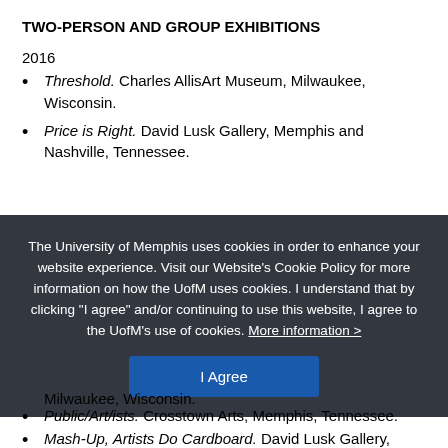TWO-PERSON AND GROUP EXHIBITIONS
2016
Threshold. Charles AllisArt Museum, Milwaukee, Wisconsin.
Price is Right. David Lusk Gallery, Memphis and Nashville, Tennessee.
The University of Memphis uses cookies in order to enhance your website experience. Visit our Website's Cookie Policy for more information on how the UofM uses cookies. I understand that by clicking “I agree” and/or continuing to use this website, I agree to the UofM’s use of cookies. More information >
I Agree
Milwaukee, Wisconsin.
Public/Art/ists. Crosstown Arts, Memphis, Tennessee.
Mash-Up, Artists Do Cardboard. David Lusk Gallery,